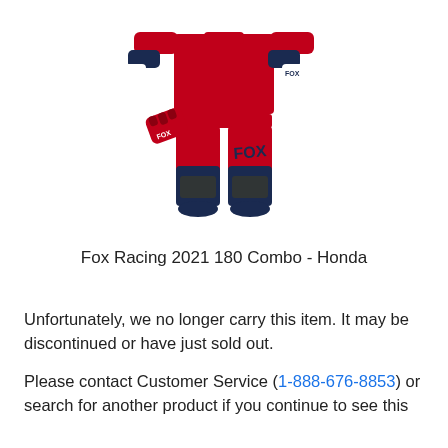[Figure (photo): Fox Racing 2021 180 Combo Honda motocross gear set showing red and navy blue jersey, pants, and gloves]
Fox Racing 2021 180 Combo - Honda
Unfortunately, we no longer carry this item. It may be discontinued or have just sold out.
Please contact Customer Service (1-888-676-8853) or search for another product if you continue to see this